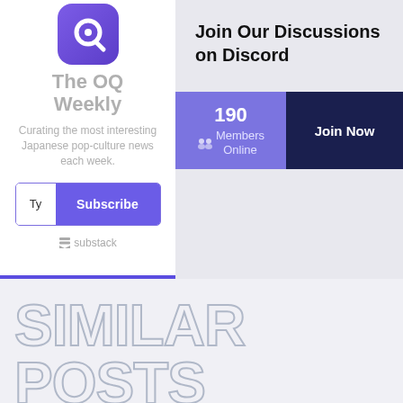[Figure (logo): The OQ Weekly Substack newsletter widget with purple logo, grey title, description, subscribe button, and Substack branding]
[Figure (infographic): Discord widget showing 'Join Our Discussions on Discord' with 190 Members Online and a Join Now button]
SIMILAR POSTS